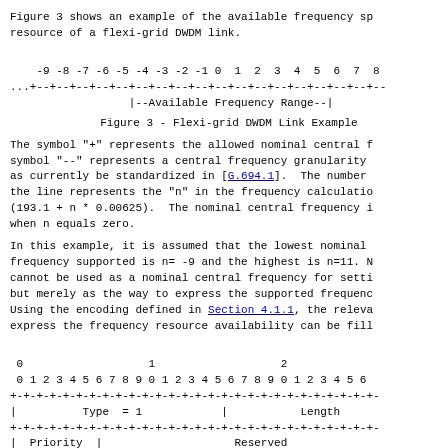Figure 3 shows an example of the available frequency sp
resource of a flexi-grid DWDM link.
[Figure (schematic): ASCII diagram showing frequency slots numbered -9 to 8 with +--+ grid lines and an Available Frequency Range indicator]
Figure 3 - Flexi-grid DWDM Link Example
The symbol "+" represents the allowed nominal central f
symbol "--" represents a central frequency granularity
as currently be standardized in [G.694.1].  The number
the line represents the "n" in the frequency calculatio
(193.1 + n * 0.00625).  The nominal central frequency i
when n equals zero.
In this example, it is assumed that the lowest nominal
frequency supported is n= -9 and the highest is n=11. N
cannot be used as a nominal central frequency for setti
but merely as the way to express the supported frequenc
Using the encoding defined in Section 4.1.1, the releva
express the frequency resource availability can be fill
[Figure (schematic): ASCII packet format diagram showing bit fields 0-2x with Type=1, Length, Priority, Reserved fields]